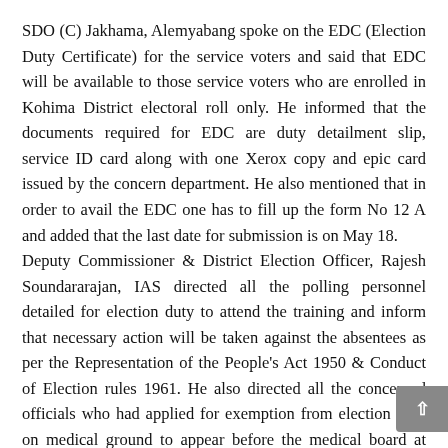SDO (C) Jakhama, Alemyabang spoke on the EDC (Election Duty Certificate) for the service voters and said that EDC will be available to those service voters who are enrolled in Kohima District electoral roll only. He informed that the documents required for EDC are duty detailment slip, service ID card along with one Xerox copy and epic card issued by the concern department. He also mentioned that in order to avail the EDC one has to fill up the form No 12 A and added that the last date for submission is on May 18. Deputy Commissioner & District Election Officer, Rajesh Soundararajan, IAS directed all the polling personnel detailed for election duty to attend the training and inform that necessary action will be taken against the absentees as per the Representation of the People's Act 1950 & Conduct of Election rules 1961. He also directed all the concerned officials who had applied for exemption from election duty on medical ground to appear before the medical board at Naga Hospital